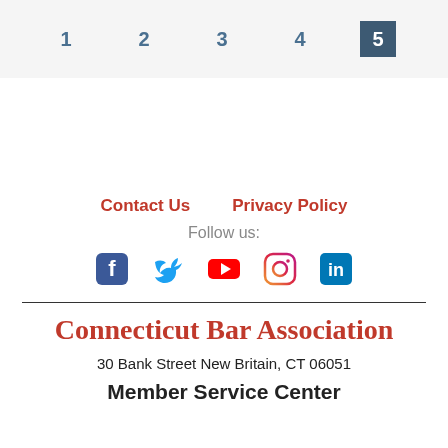1  2  3  4  5
Contact Us    Privacy Policy
Follow us:
[Figure (infographic): Social media icons: Facebook, Twitter, YouTube, Instagram, LinkedIn]
Connecticut Bar Association
30 Bank Street New Britain, CT 06051
Member Service Center